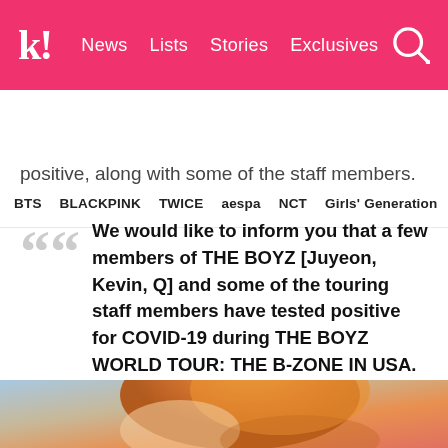k! News  Lists  Stories  Exclusives
BTS  BLACKPINK  TWICE  aespa  NCT  Girls' Generation
positive, along with some of the staff members.
We would like to inform you that a few members of THE BOYZ [Juyeon, Kevin, Q] and some of the touring staff members have tested positive for COVID-19 during THE BOYZ WORLD TOUR: THE B-ZONE IN USA.
— IST Entertainment
[Figure (photo): Bottom portion of a photo showing a person with orange/auburn hair, partially visible, color-toned background]